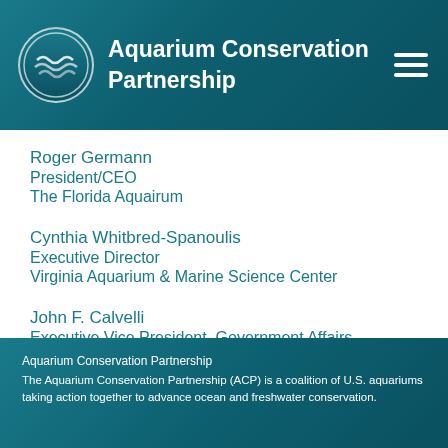Aquarium Conservation Partnership
Roger Germann
President/CEO
The Florida Aquairum
Cynthia Whitbred-Spanoulis
Executive Director
Virginia Aquarium & Marine Science Center
John F. Calvelli
Executive Vice President, Government Affairs
Wildlife Conservation Society
Aquarium Conservation Partnership
The Aquarium Conservation Partnership (ACP) is a coalition of U.S. aquariums taking action together to advance ocean and freshwater conservation.